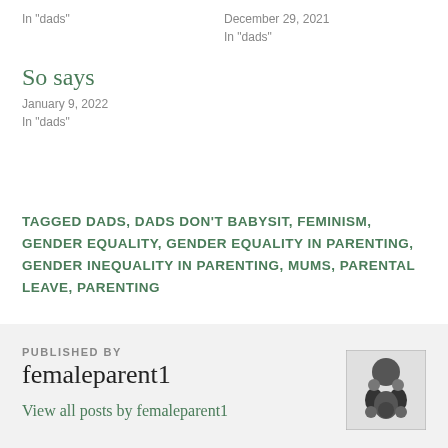In "dads"
December 29, 2021
In "dads"
So says
January 9, 2022
In "dads"
TAGGED DADS, DADS DON'T BABYSIT, FEMINISM, GENDER EQUALITY, GENDER EQUALITY IN PARENTING, GENDER INEQUALITY IN PARENTING, MUMS, PARENTAL LEAVE, PARENTING
PUBLISHED BY
femaleparent1
View all posts by femaleparent1
[Figure (photo): Black and white avatar image showing a group of people including what appears to be a parent and children]